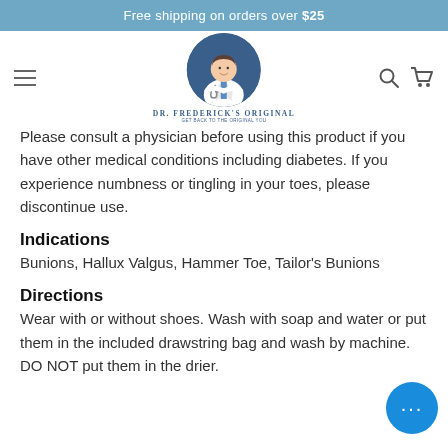Free shipping on orders over $25
[Figure (logo): Dr. Frederick's Original logo with doctor illustration in blue circle]
Please consult a physician before using this product if you have other medical conditions including diabetes. If you experience numbness or tingling in your toes, please discontinue use.
Indications
Bunions, Hallux Valgus, Hammer Toe, Tailor's Bunions
Directions
Wear with or without shoes. Wash with soap and water or put them in the included drawstring bag and wash by machine. DO NOT put them in the drier.